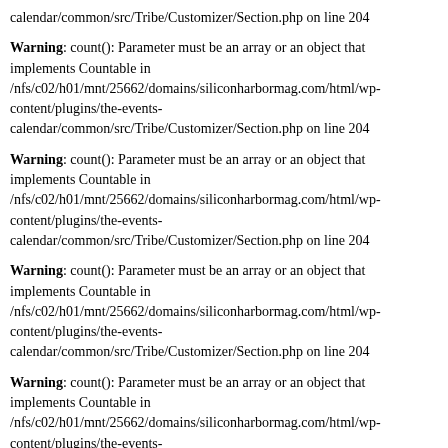calendar/common/src/Tribe/Customizer/Section.php on line 204
Warning: count(): Parameter must be an array or an object that implements Countable in /nfs/c02/h01/mnt/25662/domains/siliconharbormag.com/html/wp-content/plugins/the-events-calendar/common/src/Tribe/Customizer/Section.php on line 204
Warning: count(): Parameter must be an array or an object that implements Countable in /nfs/c02/h01/mnt/25662/domains/siliconharbormag.com/html/wp-content/plugins/the-events-calendar/common/src/Tribe/Customizer/Section.php on line 204
Warning: count(): Parameter must be an array or an object that implements Countable in /nfs/c02/h01/mnt/25662/domains/siliconharbormag.com/html/wp-content/plugins/the-events-calendar/common/src/Tribe/Customizer/Section.php on line 204
Warning: count(): Parameter must be an array or an object that implements Countable in /nfs/c02/h01/mnt/25662/domains/siliconharbormag.com/html/wp-content/plugins/the-events-calendar/common/src/Tribe/Customizer/Section.php on line 204
Warning: count(): Parameter must be an array or an object that implements Countable in /nfs/c02/h01/mnt/25662/domains/siliconharbormag.com/html/wp-content/plugins/the-events-calendar/common/src/Tribe/Customizer/Section.php on line 204
Warning: count(): Parameter must be an array or an object that implements Countable in /nfs/c02/h01/mnt/25662/domains/siliconharbormag.com/html/wp-content/plugins/the-events-calendar/common/src/Tribe/Customizer/Section.php on line 204